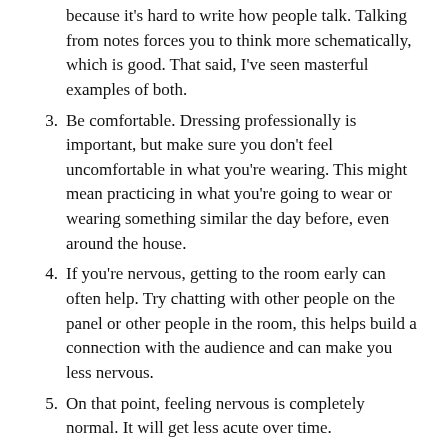because it's hard to write how people talk. Talking from notes forces you to think more schematically, which is good. That said, I've seen masterful examples of both.
3. Be comfortable. Dressing professionally is important, but make sure you don't feel uncomfortable in what you're wearing. This might mean practicing in what you're going to wear or wearing something similar the day before, even around the house.
4. If you're nervous, getting to the room early can often help. Try chatting with other people on the panel or other people in the room, this helps build a connection with the audience and can make you less nervous.
5. On that point, feeling nervous is completely normal. It will get less acute over time.
Argument / content: